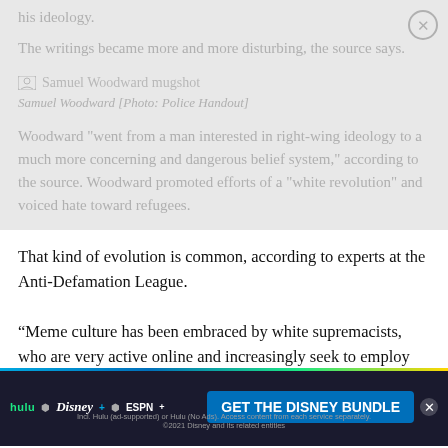his ideology.
The writings became more and more disturbing, the source says.
[Figure (photo): Samuel Woodward mugshot placeholder]
Samuel Woodward [Photo: Police Handout]
Woodward "went from a man interested in right-wing ideology to a much more concerning and dangerous belief system," according to the source. Woodward promoted efforts of a "white revolution" and voiced hate toward refugees.
That kind of evolution is common, according to experts at the Anti-Defamation League.
“Meme culture has been embraced by white supremacists, who are very active online and increasingly seek to employ irony and humor to spread their hateful messages,” Oren Segal, director of ADL’s Center on Extremism, told the Post.
[Figure (screenshot): Disney Bundle advertisement banner: Hulu, Disney+, ESPN+ logos with 'GET THE DISNEY BUNDLE' call to action]